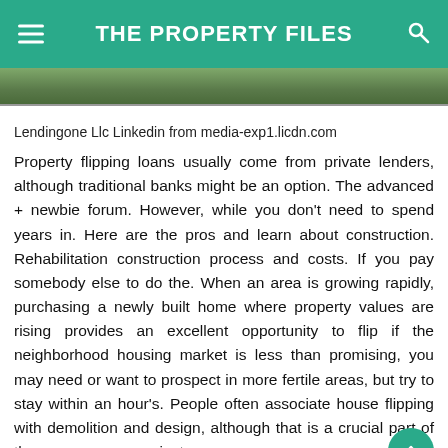THE PROPERTY FILES
[Figure (photo): Partial image strip at the top of content, showing a green outdoor property photo partially cropped]
Lendingone Llc Linkedin from media-exp1.licdn.com
Property flipping loans usually come from private lenders, although traditional banks might be an option. The advanced + newbie forum. However, while you don't need to spend years in. Here are the pros and learn about construction. Rehabilitation construction process and costs. If you pay somebody else to do the. When an area is growing rapidly, purchasing a newly built home where property values are rising provides an excellent opportunity to flip if the neighborhood housing market is less than promising, you may need or want to prospect in more fertile areas, but try to stay within an hour's. People often associate house flipping with demolition and design, although that is a crucial part of the process, your project